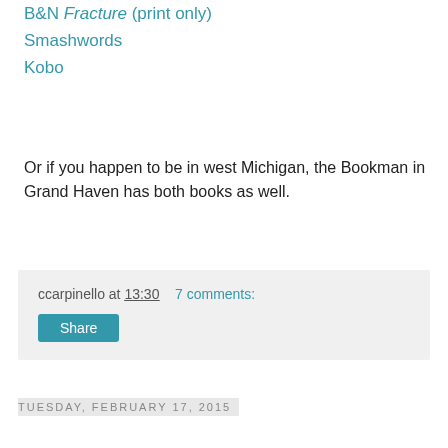B&N Fracture (print only)
Smashwords
Kobo
Or if you happen to be in west Michigan, the Bookman in Grand Haven has both books as well.
ccarpinello at 13:30   7 comments:
Share
Tuesday, February 17, 2015
On Book Marketing and the Kid Lit Blog Hop #54
[Figure (illustration): Cartoon illustration of a smiling young boy with brown hair and glasses, wearing a yellow-green shirt, holding a pencil and a book or folder.]